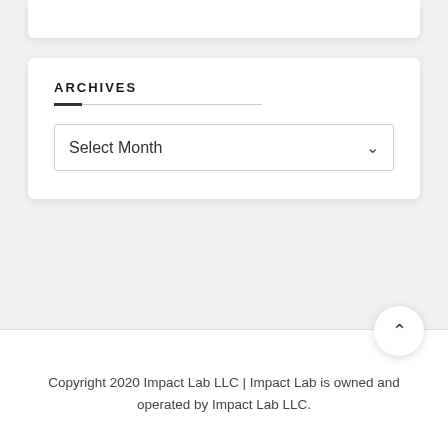ARCHIVES
Select Month
Copyright 2020 Impact Lab LLC | Impact Lab is owned and operated by Impact Lab LLC.